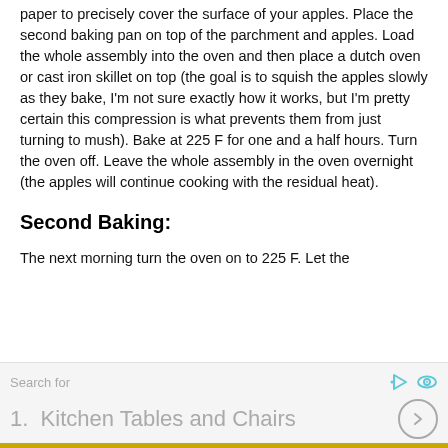paper to precisely cover the surface of your apples. Place the second baking pan on top of the parchment and apples. Load the whole assembly into the oven and then place a dutch oven or cast iron skillet on top (the goal is to squish the apples slowly as they bake, I'm not sure exactly how it works, but I'm pretty certain this compression is what prevents them from just turning to mush). Bake at 225 F for one and a half hours. Turn the oven off. Leave the whole assembly in the oven overnight (the apples will continue cooking with the residual heat).
Second Baking:
The next morning turn the oven on to 225 F. Let the